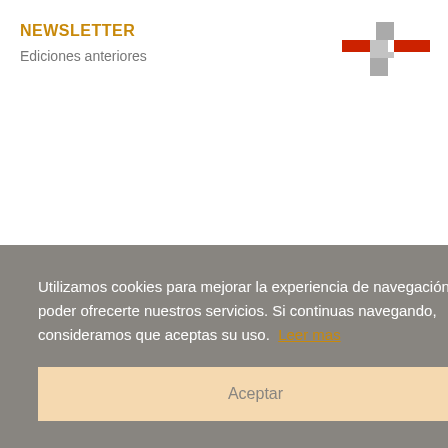NEWSLETTER
Ediciones anteriores
[Figure (logo): Red and gray cross/plus logo in top right corner]
Utilizamos cookies para mejorar la experiencia de navegación y poder ofrecerte nuestros servicios. Si continuas navegando, consideramos que aceptas su uso.  Leer mas
Aceptar